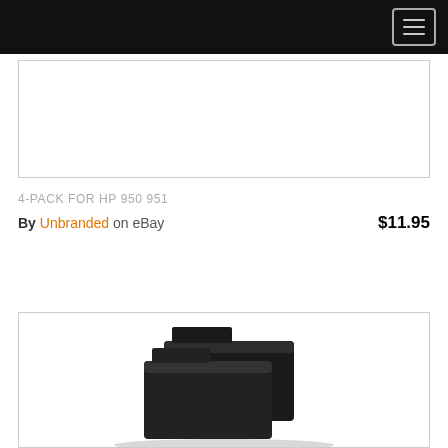[Figure (other): Top product image placeholder box (white rectangle with border)]
4-PACK FOR HP 950 951
By Unbranded on eBay $11.95
[Figure (photo): Product photo showing black ink cartridges stacked, bottom portion visible]